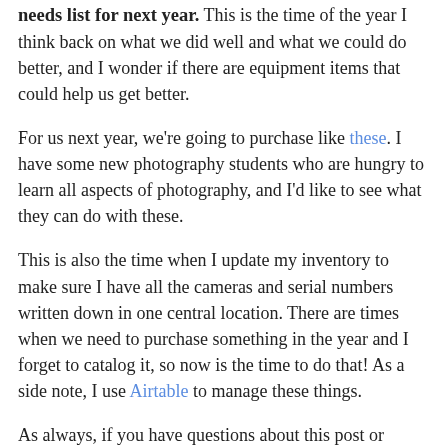needs list for next year. This is the time of the year I think back on what we did well and what we could do better, and I wonder if there are equipment items that could help us get better.
For us next year, we're going to purchase like these. I have some new photography students who are hungry to learn all aspects of photography, and I'd like to see what they can do with these.
This is also the time when I update my inventory to make sure I have all the cameras and serial numbers written down in one central location. There are times when we need to purchase something in the year and I forget to catalog it, so now is the time to do that! As a side note, I use Airtable to manage these things.
As always, if you have questions about this post or anything related to high school journalism, just let us know!